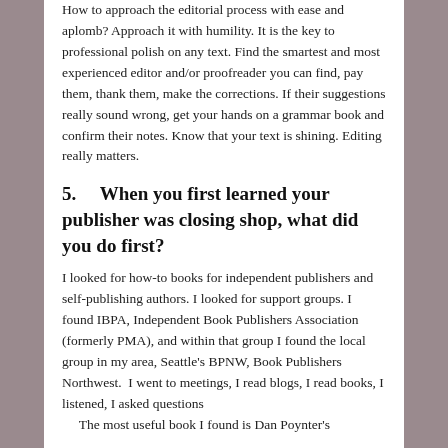How to approach the editorial process with ease and aplomb? Approach it with humility. It is the key to professional polish on any text.  Find the smartest and most experienced editor and/or proofreader you can find, pay them, thank them, make the corrections.  If their suggestions really sound wrong, get your hands on a grammar book and confirm their notes.  Know that your text is shining. Editing really matters.
5.     When you first learned your publisher was closing shop, what did you do first?
I looked for how-to books for independent publishers and self-publishing authors. I looked for support groups. I found IBPA, Independent Book Publishers Association (formerly PMA), and within that group I found the local group in my area, Seattle's BPNW, Book Publishers Northwest.  I went to meetings, I read blogs, I read books, I listened, I asked questions       The most useful book I found is Dan Poynter's